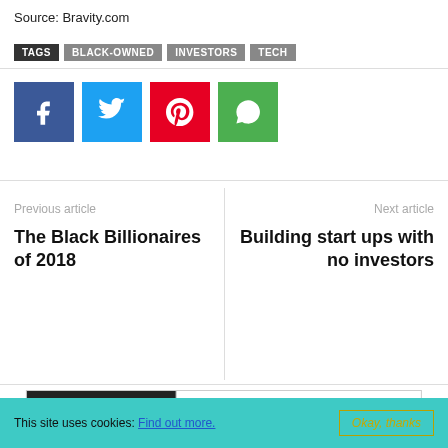Source: Bravity.com
TAGS  BLACK-OWNED  INVESTORS  TECH
[Figure (infographic): Social share buttons: Facebook (blue), Twitter (light blue), Pinterest (red), WhatsApp (green)]
Previous article
The Black Billionaires of 2018
Next article
Building start ups with no investors
RELATED ARTICLES  MORE FROM AUTHOR
[Figure (screenshot): Thumbnail image: bar chart labelled FAVOURITE VIDEO GAMES]
[Figure (photo): Thumbnail image: portrait of a young Black man]
[Figure (photo): Thumbnail image: person at desk with laptop]
This site uses cookies: Find out more.  Okay, thanks